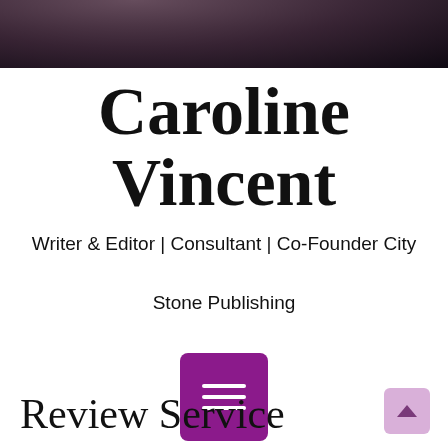[Figure (photo): Dark banner photo of people, cropped at top of page]
Caroline Vincent
Writer & Editor | Consultant | Co-Founder City Stone Publishing
[Figure (other): Purple hamburger menu button with three white horizontal lines]
Review Service
[Figure (other): Light purple scroll-to-top button with upward arrow, bottom right corner]